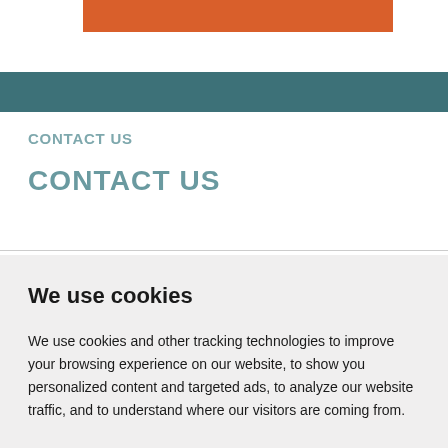[Figure (other): Orange navigation bar element at top of page]
[Figure (other): Teal horizontal bar below orange bar]
CONTACT US
CONTACT US
We use cookies
We use cookies and other tracking technologies to improve your browsing experience on our website, to show you personalized content and targeted ads, to analyze our website traffic, and to understand where our visitors are coming from.